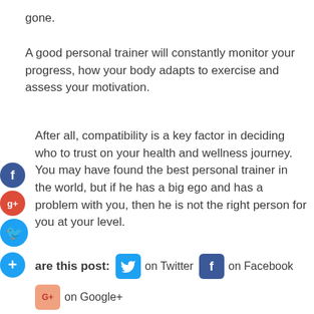gone.
A good personal trainer will constantly monitor your progress, how your body adapts to exercise and assess your motivation.
After all, compatibility is a key factor in deciding who to trust on your health and wellness journey. You may have found the best personal trainer in the world, but if he has a big ego and has a problem with you, then he is not the right person for you at your level.
Share this post:  on Twitter  on Facebook  on Google+